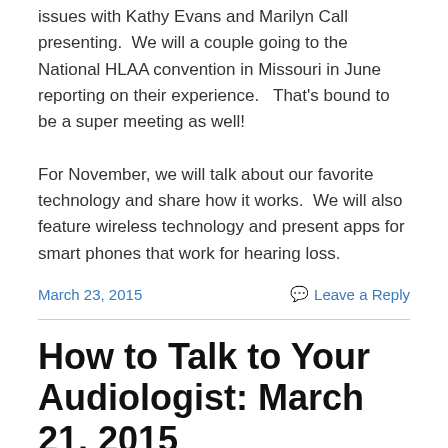issues with Kathy Evans and Marilyn Call presenting.  We will a couple going to the National HLAA convention in Missouri in June reporting on their experience.   That's bound to be a super meeting as well!
For November, we will talk about our favorite technology and share how it works.  We will also feature wireless technology and present apps for smart phones that work for hearing loss.
March 23, 2015
Leave a Reply
How to Talk to Your Audiologist: March 21, 2015
Our next meeting is March 21st at the Sanderson Center